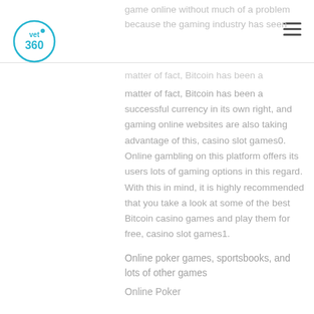[Figure (logo): vet360 circular logo with blue text and dot]
game online without much of a problem because the gaming industry has seen
matter of fact, Bitcoin has been a successful currency in its own right, and gaming online websites are also taking advantage of this, casino slot games0. Online gambling on this platform offers its users lots of gaming options in this regard. With this in mind, it is highly recommended that you take a look at some of the best Bitcoin casino games and play them for free, casino slot games1.
Online poker games, sportsbooks, and lots of other games
Online Poker